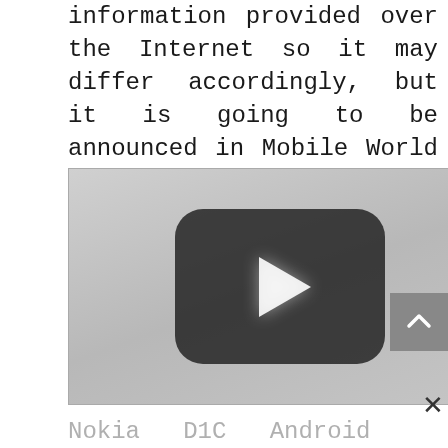information provided over the Internet so it may differ accordingly, but it is going to be announced in Mobile World Commerce 2017 which will be held between 27th February to 2nd March in 2017.
[Figure (screenshot): YouTube video player thumbnail showing a play button (dark rounded rectangle with white triangle) on a light gray background, with a scroll-up button and close button overlaid.]
Nokia D1C Android Smart Phone